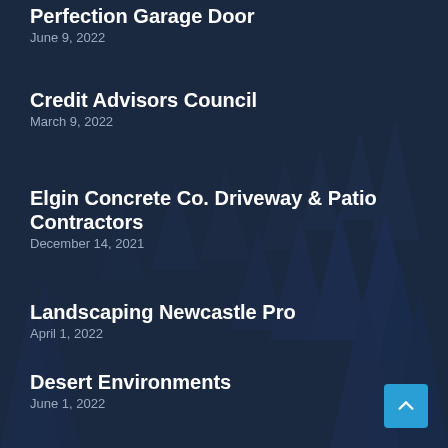[Figure (illustration): Dark navy blue background with silhouetted pine/fir trees in various shades of dark blue, creating a misty forest scene]
Perfection Garage Door
June 9, 2022
Credit Advisors Council
March 9, 2022
Elgin Concrete Co. Driveway & Patio Contractors
December 14, 2021
Landscaping Newcastle Pro
April 1, 2022
Desert Environments
June 1, 2022